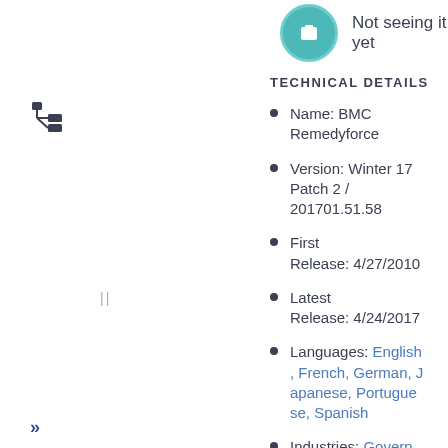Not seeing it yet
TECHNICAL DETAILS
Name: BMC Remedyforce
Version: Winter 17 Patch 2 / 201701.51.58
First Release: 4/27/2010
Latest Release: 4/24/2017
Languages: English, French, German, Japanese, Portuguese, Spanish
Industries: Government ment